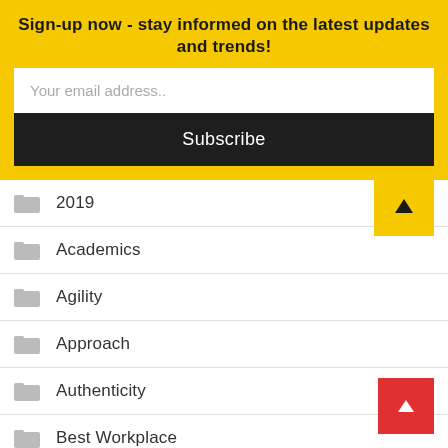Sign-up now - stay informed on the latest updates and trends!
Your email address..
Subscribe
2019
Academics
Agility
Approach
Authenticity
Best Workplace
blogging